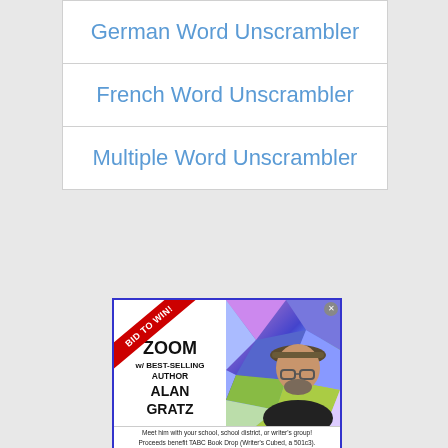German Word Unscrambler
French Word Unscrambler
Multiple Word Unscrambler
[Figure (photo): Advertisement: 'BID TO WIN! ZOOM w/ BEST-SELLING AUTHOR ALAN GRATZ. Meet him with your school, school district, or writer's group! Proceeds benefit TABC Book Drop (Writer's Cubed, a 501c3).' Features a photo of Alan Gratz wearing a hat and glasses against a colorful geometric background.]